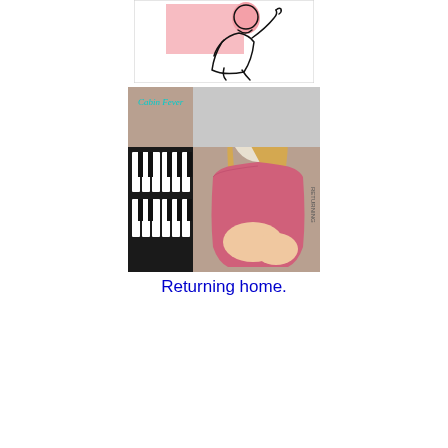[Figure (illustration): Line art illustration of a seated figure with a pink rectangular background block, drawn in minimalist black outline style on white background, framed with a border.]
[Figure (photo): Photo of a young woman with long blonde hair wearing a pink fluffy bathrobe, sitting in front of a piano keyboard. Text 'Cabin Fever' in cyan script appears in the upper left corner of the photo. Vertical text appears along the right edge.]
Returning home.